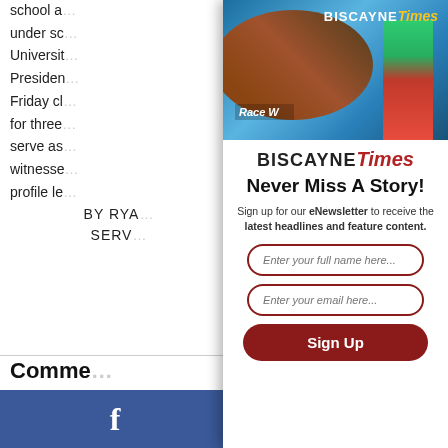school a... under sc... Universit... Presiden... Friday cl... for three ... serve as ... witnesse... profile le...
BY RYA... SERV...
Comme...
Type subje...
[Figure (photo): Biscayne Times magazine cover showing a jockey on a horse and a colorful tower/building, with the text 'Race W...' visible]
BISCAYNE Times
Never Miss A Story!
Sign up for our eNewsletter to receive the latest headlines and feature content.
Enter your full name here...
Enter your email here...
Sign Up